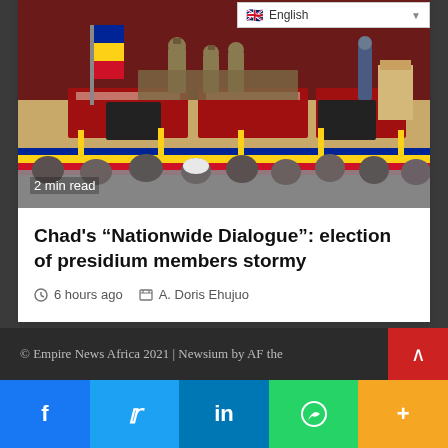[Figure (photo): A formal ceremony with soldiers in desert camouflage uniforms standing on a stage with a flag, floral decorations in blue/yellow/red Chad colors, and seated audience in foreground]
2 min read
Chad’s “Nationwide Dialogue”: election of presidium members stormy
6 hours ago   A. Doris Ehujuo
© Empire News Africa 2021 | Newsium by AF the